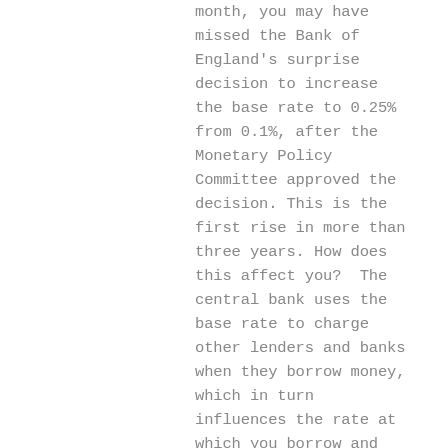month, you may have missed the Bank of England's surprise decision to increase the base rate to 0.25% from 0.1%, after the Monetary Policy Committee approved the decision. This is the first rise in more than three years. How does this affect you?  The central bank uses the base rate to charge other lenders and banks when they borrow money, which in turn influences the rate at which you borrow and savers earn. This may only equate to a relatively small increase in your monthly payments for those with a variable rate mortgage, and if you have a fixed rate deal you can breath a sigh of relief as you are protected for now. Should you be looking to secure a new mortgage you will find that the rates are higher.